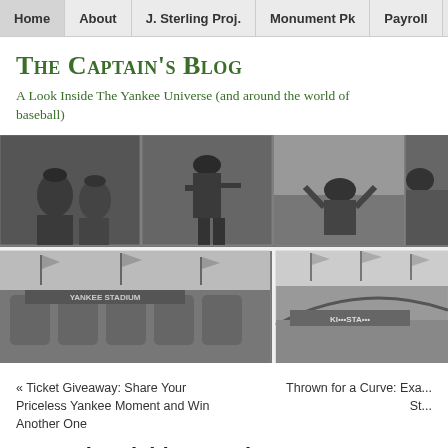Home | About | J. Sterling Proj. | Monument Pk | Payroll
The Captain's Blog
A Look Inside The Yankee Universe (and around the world of baseball)
[Figure (photo): Black and white photo collage of baseball players and Yankee Stadium]
« Ticket Giveaway: Share Your Priceless Yankee Moment and Win Another One
Thrown for a Curve: Exa... St...
Opposite Field Attracting Home Runs for Yankees
August 11, 2012 by William Juliano